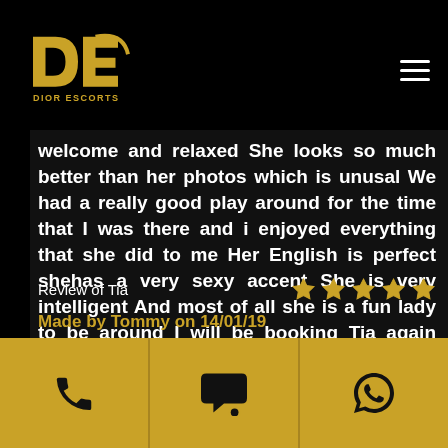[Figure (logo): Dior Escorts logo — stylized HD monogram in gold with 'DIOR ESCORTS' text below]
welcome and relaxed She looks so much better than her photos which is unusal We had a really good play around for the time that I was there and i enjoyed everything that she did to me Her English is perfect shehas a very sexy accent She is very intelligent And most of all she is a fun lady to be around I will be booking Tia again Thank you very much
Review of Tia
★★★★★
Made by Tommy on 14/01/19